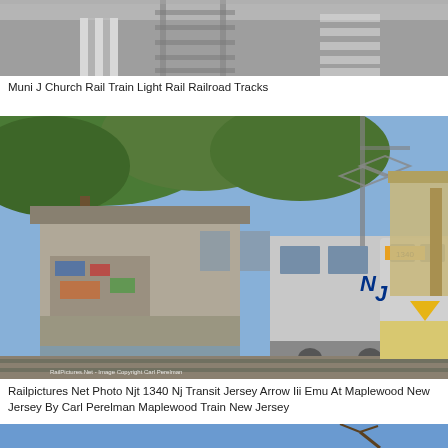[Figure (photo): Muni J Church rail train light rail railroad tracks viewed from above, showing track and road surface]
Muni J Church Rail Train Light Rail Railroad Tracks
[Figure (photo): Railpictures.net photo of NJT 1340 NJ Transit Jersey Arrow III EMU at Maplewood, New Jersey by Carl Perelman. Shows silver commuter train at station platform with trees and station building in background.]
Railpictures Net Photo Njt 1340 Nj Transit Jersey Arrow Iii Emu At Maplewood New Jersey By Carl Perelman Maplewood Train New Jersey
[Figure (photo): Partial view of a third image with blue sky and bare tree branches visible at bottom of page]